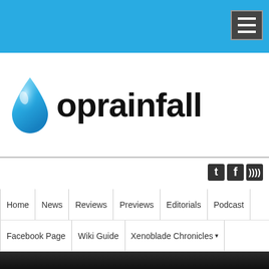[Figure (screenshot): Oprainfall website screenshot showing blue top bar with hamburger menu, logo with water drop, social media icons, navigation menu, and bottom hero image with 'Girls Und' text]
oprainfall
Home
News
Reviews
Previews
Editorials
Podcast
Facebook Page
Wiki Guide
Xenoblade Chronicles
Community
E3 Info Page
Contact
Disclaimer
Girls Und